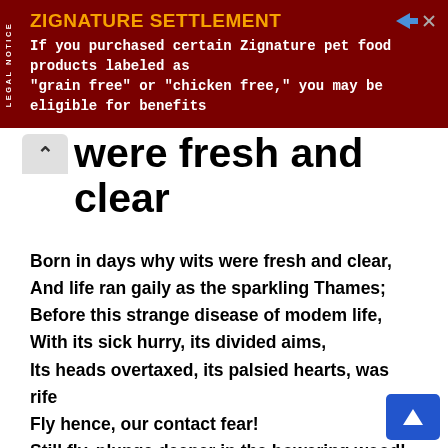[Figure (other): Legal Notice advertisement banner for Zignature Settlement. Dark red/maroon background. Text reads: ZIGNATURE SETTLEMENT - If you purchased certain Zignature pet food products labeled as 'grain free' or 'chicken free,' you may be eligible for benefits. Includes AdChoices icon and close X button. Vertical 'LEGAL NOTICE' text on left sidebar.]
were fresh and clear
Born in days why wits were fresh and clear,
And life ran gaily as the sparkling Thames;
Before this strange disease of modem life,
With its sick hurry, its divided aims,
Its heads overtaxed, its palsied hearts, was rife
Fly hence, our contact fear!
Still fly, plunge deeper in the bowering wood!
Averse, as Dido did with gesture stern'
From her false friend's approach in Hades
Wave us away, and, keep thy solitude,